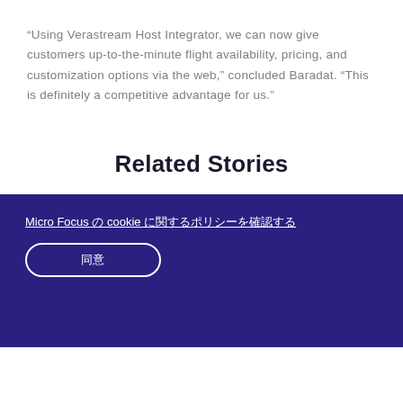“Using Verastream Host Integrator, we can now give customers up-to-the-minute flight availability, pricing, and customization options via the web,” concluded Baradat. “This is definitely a competitive advantage for us.”
Related Stories
Micro Focus の cookie に関するポリシーを確認する
同意